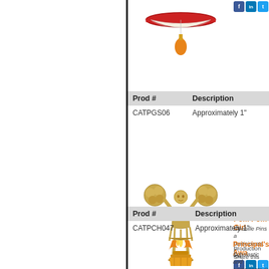[Figure (photo): Top product pin image - book/school pin with orange drop, partially visible at top]
| Prod # | Description |
| --- | --- |
| CATPGS06 | Approximately 1" |
[Figure (photo): Gold pom pom girl cheerleader chenille pin figurine]
Pom Pom Girl
Chenille Pins a participants. C
Production lea
Share this Awa
| Prod # | Description |
| --- | --- |
| CATPCH047 | Approximately 1" |
[Figure (photo): Principal's Award pin - torch/flame design, partially visible at bottom]
Principal's Awa
Scholastic and participants C